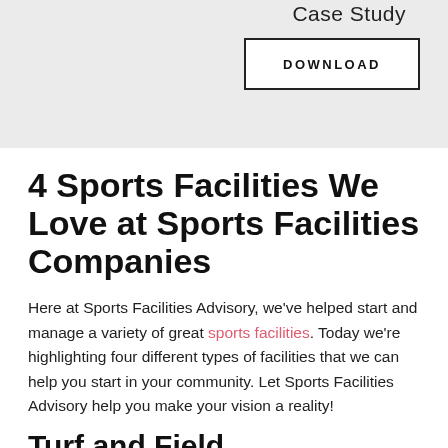[Figure (other): Grey banner with 'Case Study' label and a DOWNLOAD button inside a rectangle border]
4 Sports Facilities We Love at Sports Facilities Companies
Here at Sports Facilities Advisory, we've helped start and manage a variety of great sports facilities. Today we're highlighting four different types of facilities that we can help you start in your community. Let Sports Facilities Advisory help you make your vision a reality!
Turf and Field...